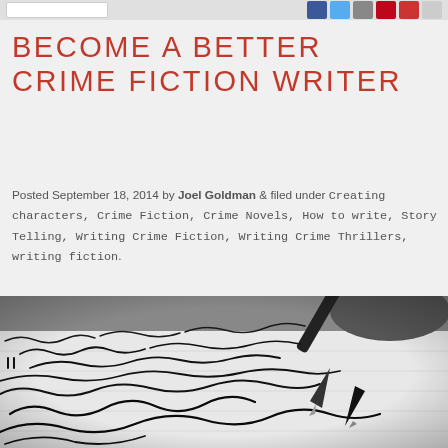[social share icons: Facebook, Twitter, Google+, Pinterest, Email, Print]
BECOME A BETTER CRIME FICTION WRITER
Posted September 18, 2014 by Joel Goldman & filed under Creating characters, Crime Fiction, Crime Novels, How to write, Story Telling, Writing Crime Fiction, Writing Crime Thrillers, writing fiction.
[Figure (photo): Black and white close-up photograph of a fountain pen writing cursive handwriting on lined paper]